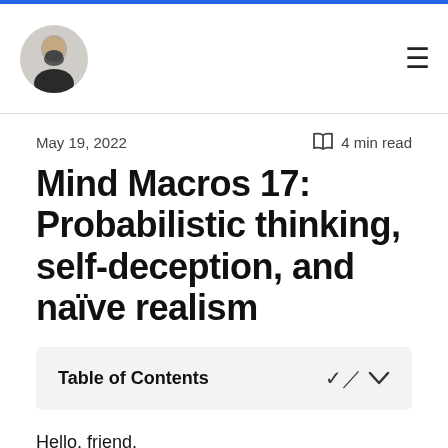May 19, 2022   4 min read
Mind Macros 17: Probabilistic thinking, self-deception, and naïve realism
Table of Contents
Hello, friend.